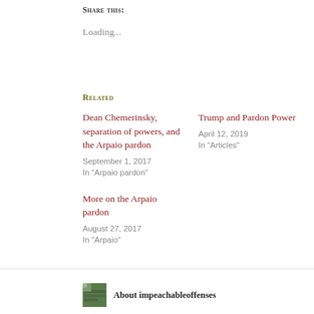Share this:
Loading...
Related
Dean Chemerinsky, separation of powers, and the Arpaio pardon
September 1, 2017
In "Arpaio pardon"
Trump and Pardon Power
April 12, 2019
In "Articles"
More on the Arpaio pardon
August 27, 2017
In "Arpaio"
About impeachableoffenses